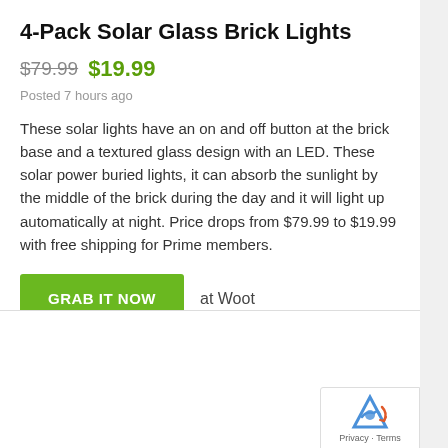4-Pack Solar Glass Brick Lights
$79.99  $19.99
Posted 7 hours ago
These solar lights have an on and off button at the brick base and a textured glass design with an LED. These solar power buried lights, it can absorb the sunlight by the middle of the brick during the day and it will light up automatically at night. Price drops from $79.99 to $19.99 with free shipping for Prime members.
GRAB IT NOW  at Woot
[Figure (photo): Outdoor photo showing solar glass brick lights installed in garden near hedge and tropical plants]